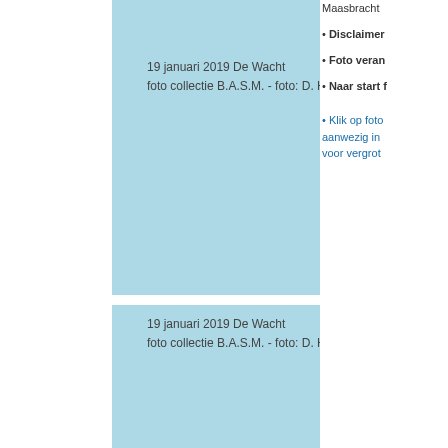[Figure (photo): Light blue photo placeholder area (top) for 19 januari 2019 De Wacht]
19 januari 2019 De Wacht
foto collectie B.A.S.M. - foto: D. Henken ©
[Figure (photo): Light blue photo placeholder area (bottom) for 19 januari 2019 De Wacht]
19 januari 2019 De Wacht
foto collectie B.A.S.M. - foto: D. Henken ©
Maasbracht
Disclaimer
Foto veran
Naar start f
Klik op foto aanwezig in voor vergrot